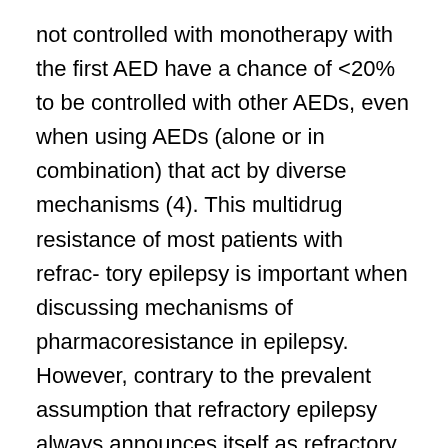not controlled with monotherapy with the first AED have a chance of <20% to be controlled with other AEDs, even when using AEDs (alone or in combination) that act by diverse mechanisms (4). This multidrug resistance of most patients with refrac- tory epilepsy is important when discussing mechanisms of pharmacoresistance in epilepsy. However, contrary to the prevalent assumption that refractory epilepsy always announces itself as refractory from the onset, mounting evidence indicates that this may not always be the case, and in a number of patients, pharmacoresistant epilepsy develops after they responded well to the first AED.
Is there progression from remission to drug resistance?
In support of evolution from remission to drug resis- tance, several lines of suggestive evidence exist.